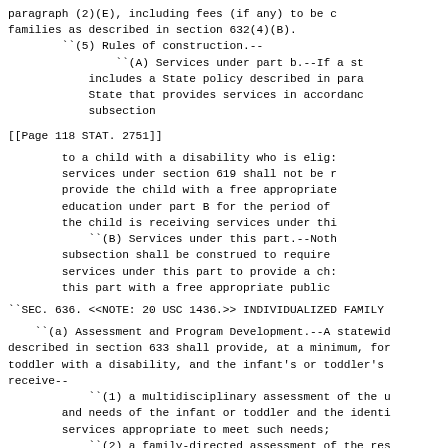paragraph (2)(E), including fees (if any) to be charged to families as described in section 632(4)(B).
    ``(5) Rules of construction.--
            ``(A) Services under part b.--If a state plan includes a State policy described in paragraph, State that provides services in accordance subsection
[[Page 118 STAT. 2751]]
to a child with a disability who is eligible for services under section 619 shall not be required to provide the child with a free appropriate public education under part B for the period of time that the child is receiving services under this
        ``(B) Services under this part.--Nothing in this subsection shall be construed to require a system of services under this part to provide a child eligible this part with a free appropriate public
``SEC. 636. <<NOTE: 20 USC 1436.>> INDIVIDUALIZED FAMILY
``(a) Assessment and Program Development.--A statewide system described in section 633 shall provide, at a minimum, for each toddler with a disability, and the infant's or toddler's family to receive--
        ``(1) a multidisciplinary assessment of the unique strengths and needs of the infant or toddler and the identification of services appropriate to meet such needs;
        ``(2) a family-directed assessment of the resources